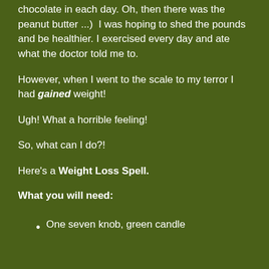chocolate in each day. Oh, then there was the peanut butter ...)  I was hoping to shed the pounds and be healthier. I exercised every day and ate what the doctor told me to.
However, when I went to the scale to my terror I had gained weight!
Ugh! What a horrible feeling!
So, what can I do?!
Here's a Weight Loss Spell.
What you will need:
One seven knob, green candle